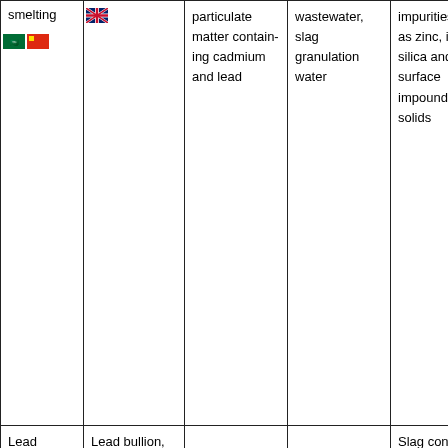| Process | Inputs | Air emissions | Water discharges | Solid wastes |
| --- | --- | --- | --- | --- |
| smelting [flags row] |  | particulate matter contain-ing cadmium and lead | wastewater, slag granulation water | impurities such as zinc, iron, silica and lime, surface impoundment solids |
| Lead drossing | Lead bullion, soda ash, sulphur, baghouse dust, coke |  |  | Slag containing such impurities as copper, surface impoundment solids |
| Lead refining | Lead drossing bullion |  |  |  |